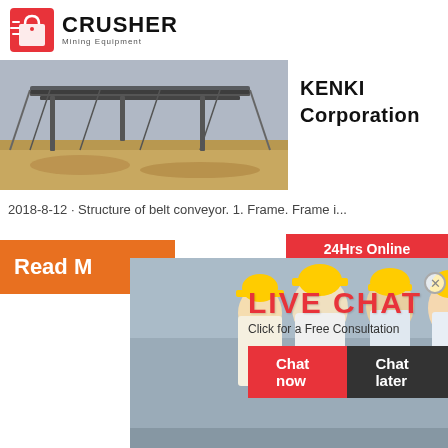[Figure (logo): Crusher Mining Equipment logo with red shopping bag icon and bold CRUSHER text]
[Figure (photo): Construction site with belt conveyor machinery on dirt ground]
KENKI Corporation
2018-8-12 · Structure of belt conveyor. 1. Frame. Frame i...
[Figure (infographic): Live chat popup with engineers in hard hats, LIVE CHAT headline, Chat now and Chat later buttons]
Read M
24Hrs Online
[Figure (photo): Blue jaw crusher machine]
and Ac Catalo
2016-6-2
Need questions & suggestion?
Chat Now
Enquiry
limingjlmofen@sina.com
Read M